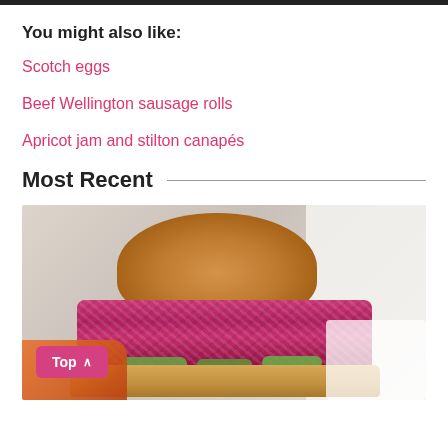You might also like:
Scotch eggs
Beef Wellington sausage rolls
Apricot jam and stilton canapés
Most Recent
[Figure (photo): A burger with a golden bun, bright pink/purple red cabbage slaw, green pickles, and sauces, wrapped in white paper, held by someone's hands. Orange/red crispy pieces visible in the lower left corner.]